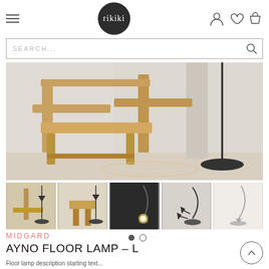rikiki — navigation header with hamburger menu, logo, user/wishlist/cart icons
SEARCH...
[Figure (photo): Wooden chair with light oak finish and black floor lamp with circular base, in a minimalist white room setting]
[Figure (photo): Thumbnail 1: Floor lamp next to wooden chair, angled view]
[Figure (photo): Thumbnail 2: Floor lamp next to wooden chair, frontal view]
[Figure (photo): Thumbnail 3: Arc floor lamp with glowing head, dark background]
[Figure (photo): Thumbnail 4: Arc floor lamp with multiple arms]
[Figure (photo): Thumbnail 5: White/chrome arc floor lamp]
MIDGARD
AYNO FLOOR LAMP – L
Floor lamp description partial text...